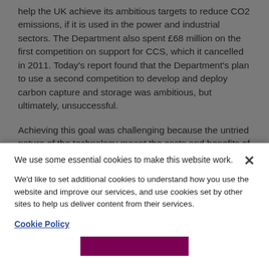help the UK achieve its ambitious targets to reduce CO2 emissions, if it is used in the power and industrial sectors. The Department also spent £68 million on the first competition on support for CCS, which it cancelled in 2011. Today's report found that the Department's plan to use a second competition to develop and deploy carbon capture and storage was ambitious, but ultimately, unsuccessful.
Achieving this goal was challenging because the untried nature of the technology meant the costs and benefits of the proposed projects were inherently uncertain. Given the level of challenge, it was an achievement for the Department to sustain negotiations with the preferred bidders to the point where it gained valuable technical and commercial knowledge about how to deploy the competition projects. But any value that could be gained is contingent on the Department applying the lessons it and
We use some essential cookies to make this website work.
We'd like to set additional cookies to understand how you use the website and improve our services, and use cookies set by other sites to help us deliver content from their services.
Cookie Policy